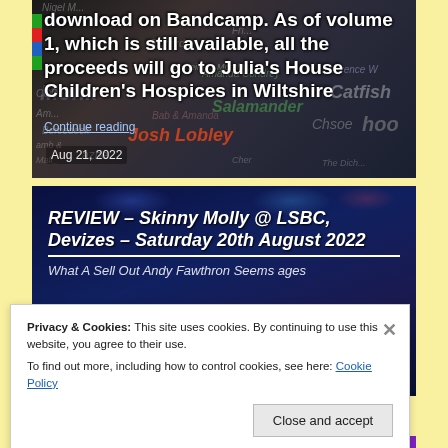[Figure (photo): Top article card: photo background showing a dark textured wall with graffiti artist names including Josh Lobley, Richard, Salamander, Catfish, Amanda Condrey, Lawrence W, and others. Overlaid with white bold text reading 'download on Bandcamp. As of volume 1, which is still available, all the proceeds will go to Julia's House Children's Hospices in Wiltshire'. Date: Aug 21, 2022.]
[Figure (photo): Bottom article card: dark blue stage photo background. Overlaid with bold white italic text reading 'REVIEW – Skinny Molly @ LSBC, Devizes – Saturday 20th August 2022' and subtitle 'What A Sell Out Andy Fawthron Seems ages'.]
Privacy & Cookies: This site uses cookies. By continuing to use this website, you agree to their use.
To find out more, including how to control cookies, see here: Cookie Policy
Close and accept